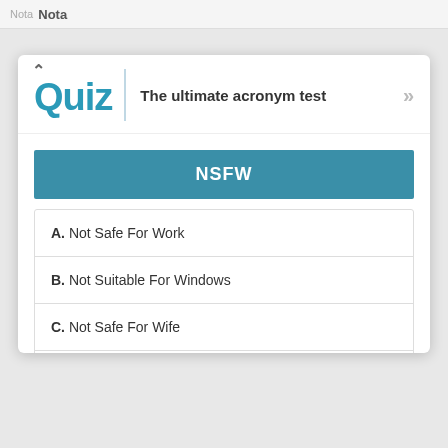Nota
Quiz
The ultimate acronym test
NSFW
A. Not Safe For Work
B. Not Suitable For Windows
C. Not Safe For Wife
D. No Seats For Wolfs